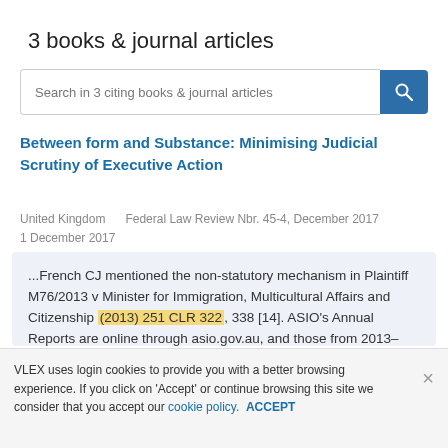3 books & journal articles
Search in 3 citing books & journal articles
Between form and Substance: Minimising Judicial Scrutiny of Executive Action
United Kingdom    Federal Law Review Nbr. 45-4, December 2017
1 December 2017
...French CJ mentioned the non-statutory mechanism in Plaintiff M76/2013 v Minister for Immigration, Multicultural Affairs and Citizenship (2013) 251 CLR 322, 338 [14]. ASIO's Annual Reports are online through asio.gov.au, and those from 2013–2014 onwards describe the mechanism and its caseloa......
VLEX uses login cookies to provide you with a better browsing experience. If you click on 'Accept' or continue browsing this site we consider that you accept our cookie policy.  ACCEPT